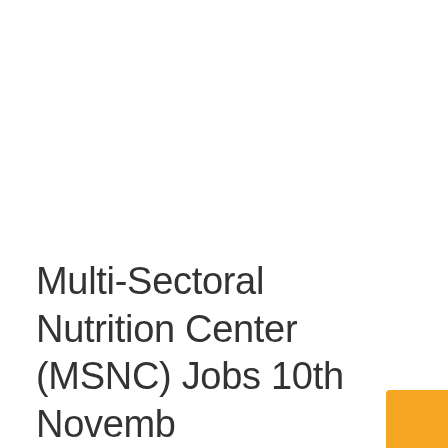Multi-Sectoral Nutrition Center (MSNC) Jobs 10th November